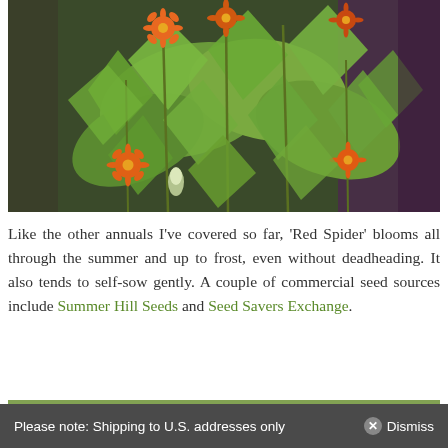[Figure (photo): A garden scene showing green leafy plants with orange-red daisy-like flowers, possibly Tithonia or similar annual, with dark purple foliage in the background.]
Like the other annuals I've covered so far, ‘Red Spider’ blooms all through the summer and up to frost, even without deadheading. It also tends to self-sow gently. A couple of commercial seed sources include Summer Hill Seeds and Seed Savers Exchange.
[Figure (photo): Partial view of another garden plant photo, cropped at the bottom of the page.]
Please note: Shipping to U.S. addresses only   ✕ Dismiss